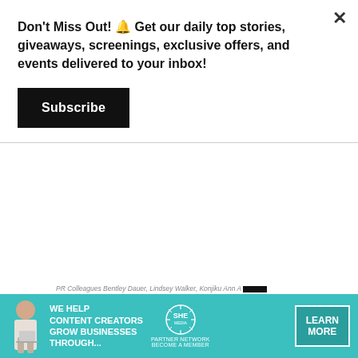Don't Miss Out! 🔔 Get our daily top stories, giveaways, screenings, exclusive offers, and events delivered to your inbox!
Subscribe
PR Colleagues Bentley Dauer, Lindsey Walker, Konjiku Ann A...
[Figure (infographic): SHE Media Partner Network advertisement banner with teal background. Shows woman with laptop, text 'We Help Content Creators Grow Businesses Through...', SHE Media logo, 'Partner Network Become a Member', and 'Learn More' button.]